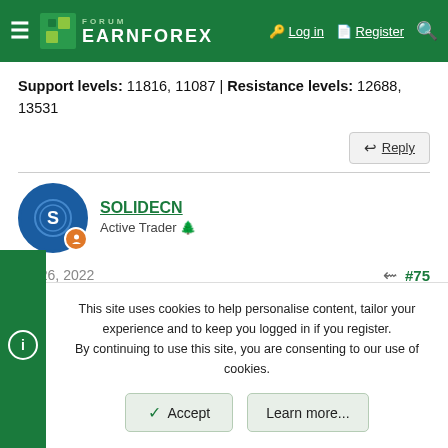FORUM EARNFOREX | Log in | Register
Support levels: 11816, 11087 | Resistance levels: 12688, 13531
Reply
SOLIDECN
Active Trader
Jul 26, 2022
#75
This site uses cookies to help personalise content, tailor your experience and to keep you logged in if you register. By continuing to use this site, you are consenting to our use of cookies.
Accept
Learn more...